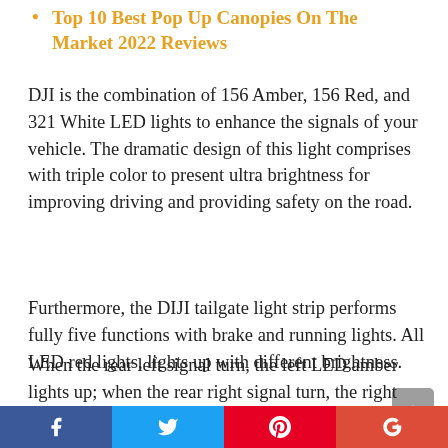Top 10 Best Pop Up Canopies On The Market 2022 Reviews
DJI is the combination of 156 Amber, 156 Red, and 321 White LED lights to enhance the signals of your vehicle. The dramatic design of this light comprises with triple color to present ultra brightness for improving driving and providing safety on the road.
Furthermore, the DIJI tailgate light strip performs fully five functions with brake and running lights. All LED red lights, lights up with different brightness.
When the rear left signal turn, the left LED amber lights up; when the rear right signal turn, the right LED red light up; whenever you reverse your vehicle, the white light LEDs light up. The major benefit of using this
Facebook  Twitter  Pinterest  Google+